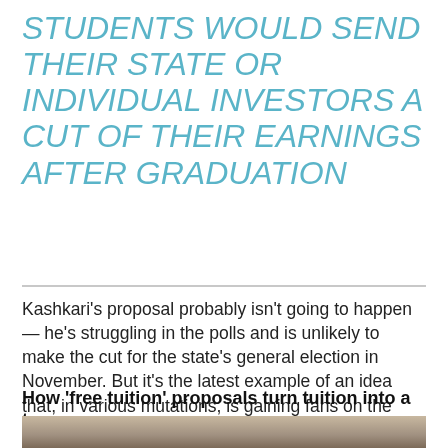STUDENTS WOULD SEND THEIR STATE OR INDIVIDUAL INVESTORS A CUT OF THEIR EARNINGS AFTER GRADUATION
Kashkari's proposal probably isn't going to happen — he's struggling in the polls and is unlikely to make the cut for the state's general election in November. But it's the latest example of an idea that, in various mutations, is gaining fans on the right and the left, even though advocacy groups warn that it wouldn't make college more affordable.
How 'free tuition' proposals turn tuition into a tax
[Figure (photo): Partial photo of a person at the bottom of the page]